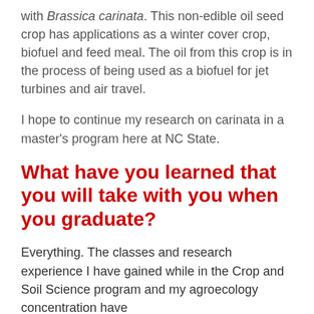with Brassica carinata. This non-edible oil seed crop has applications as a winter cover crop, biofuel and feed meal. The oil from this crop is in the process of being used as a biofuel for jet turbines and air travel.
I hope to continue my research on carinata in a master's program here at NC State.
What have you learned that you will take with you when you graduate?
Everything. The classes and research experience I have gained while in the Crop and Soil Science program and my agroecology concentration have